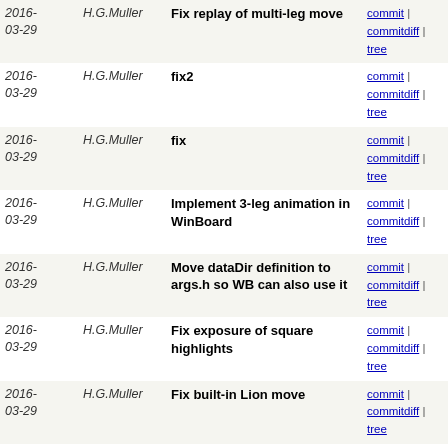| Date | Author | Message | Links |
| --- | --- | --- | --- |
| 2016-03-29 | H.G.Muller | Fix replay of multi-leg move | commit | commitdiff | tree |
| 2016-03-29 | H.G.Muller | fix2 | commit | commitdiff | tree |
| 2016-03-29 | H.G.Muller | fix | commit | commitdiff | tree |
| 2016-03-29 | H.G.Muller | Implement 3-leg animation in WinBoard | commit | commitdiff | tree |
| 2016-03-29 | H.G.Muller | Move dataDir definition to args.h so WB can also use it | commit | commitdiff | tree |
| 2016-03-29 | H.G.Muller | Fix exposure of square highlights | commit | commitdiff | tree |
| 2016-03-29 | H.G.Muller | Fix built-in Lion move | commit | commitdiff | tree |
| 2016-03-29 | H.G.Muller | Repair flashing of moved piece (XB) | commit | commitdiff | tree |
| 2016-03-29 | H.G.Muller | Streamline XBoard board drawing | commit | commitdiff | tree |
| 2016-03-29 | H.G.Muller | Improve board drawing | commit | commitdiff | tree |
| 2016-03-29 | H.G.Muller | Cleanse help texts of some common TeX escape codes | commit | commitdiff | tree |
| 2016-03-29 | H.G.Muller | Also provide help on adapter options | commit | commitdiff | tree |
| 2016-03-29 | H.G.Muller | Also buffer engine man page | commit | commitdiff | tree |
next